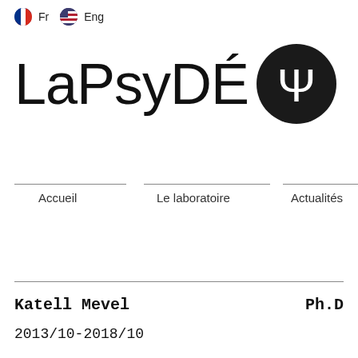Fr  Eng
[Figure (logo): LaPsyDÉ laboratory logo with large text 'LaPsyDÉ', a black circle containing the Psi symbol, and a halftone dot pattern to the right]
Accueil   Le laboratoire   Actualités
Katell Mevel   Ph.D
2013/10-2018/10